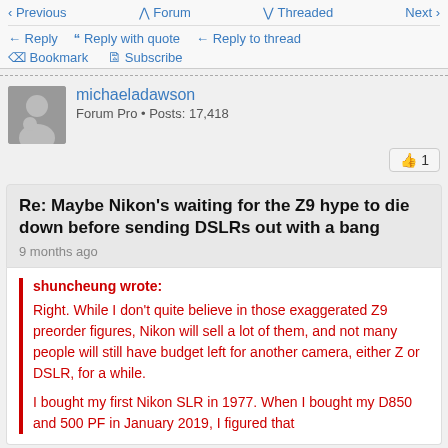Previous | Forum | Threaded | Next
Reply | Reply with quote | Reply to thread
Bookmark | Subscribe
michaeladawson
Forum Pro • Posts: 17,418
Re: Maybe Nikon's waiting for the Z9 hype to die down before sending DSLRs out with a bang
9 months ago
shuncheung wrote:

Right. While I don't quite believe in those exaggerated Z9 preorder figures, Nikon will sell a lot of them, and not many people will still have budget left for another camera, either Z or DSLR, for a while.

I bought my first Nikon SLR in 1977. When I bought my D850 and 500 PF in January 2019, I figured that